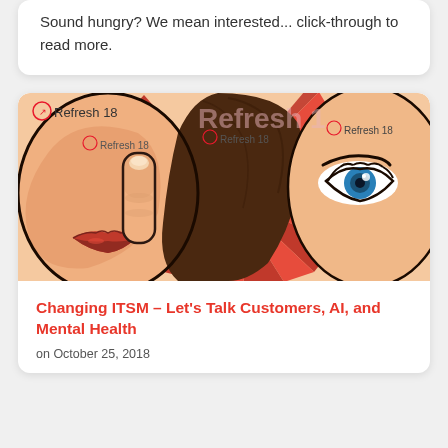Sound hungry? We mean interested... click-through to read more.
[Figure (illustration): Comic-style pop art illustration showing two faces: on the left, a woman with red lips pressing a finger to her mouth in a shushing gesture, and on the right, a woman with a blue eye looking sideways. Background has red radiating lines. Multiple 'Refresh 18' watermarks overlaid.]
Changing ITSM – Let's Talk Customers, AI, and Mental Health
on October 25, 2018